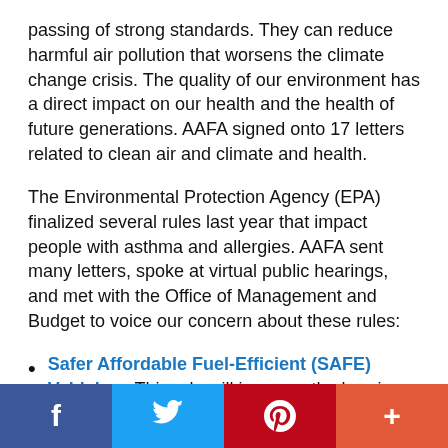passing of strong standards. They can reduce harmful air pollution that worsens the climate change crisis. The quality of our environment has a direct impact on our health and the health of future generations. AAFA signed onto 17 letters related to clean air and climate and health.
The Environmental Protection Agency (EPA) finalized several rules last year that impact people with asthma and allergies. AAFA sent many letters, spoke at virtual public hearings, and met with the Office of Management and Budget to voice our concern about these rules:
Safer Affordable Fuel-Efficient (SAFE) Vehicles– This rule will increase the burning of fossil fuels and harmful pollution. It rolls back vehicle emissions and efficiency standards from 2021 to 2026.